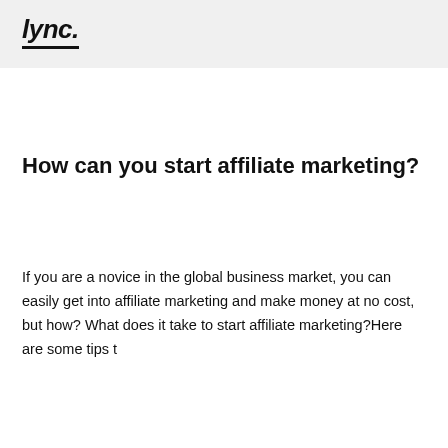lync.
How can you start affiliate marketing?
If you are a novice in the global business market, you can easily get into affiliate marketing and make money at no cost, but how? What does it take to start affiliate marketing?Here are some tips t
Continue Reading →